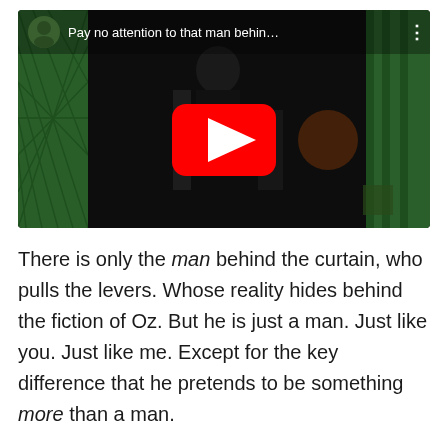[Figure (screenshot): YouTube video thumbnail showing a dark scene with green lattice curtains on left and right sides, a figure in the background operating machinery. Video title reads 'Pay no attention to that man behin…' with a YouTube play button in the center.]
There is only the man behind the curtain, who pulls the levers. Whose reality hides behind the fiction of Oz. But he is just a man. Just like you. Just like me. Except for the key difference that he pretends to be something more than a man.